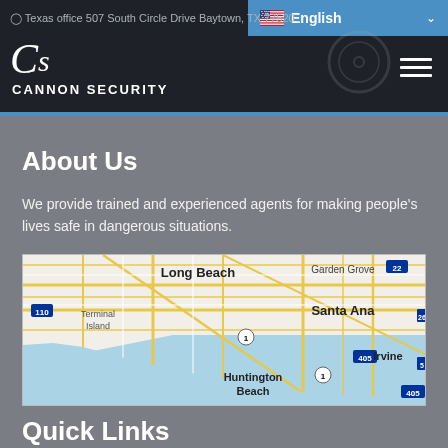Texas office 507 South Circle Drive Baytown, TX 77520
[Figure (logo): Cannon Security logo with CS monogram and company name]
About Us
We provide trained and experienced agents for making people's lives safe in dangerous situations.
[Figure (map): Google Maps showing Long Beach, Terminal Island, Garden Grove, Santa Ana, Huntington Beach, Irvine area in Southern California]
Quick Links